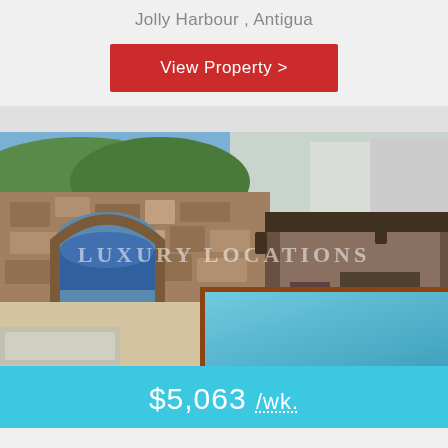Jolly Harbour , Antigua
View Property >
[Figure (photo): Exterior view of a luxury villa in Jolly Harbour, Antigua, featuring a stone archway, covered outdoor living area, and a swimming pool with blue water. A watermark reads LUXURY LOCATIONS.]
$5,063 /wk.